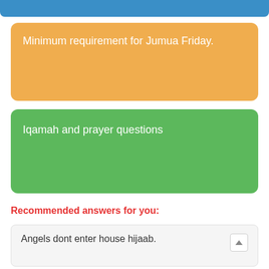Minimum requirement for Jumua Friday.
Iqamah and prayer questions
Recommended answers for you:
Angels dont enter house hijaab.